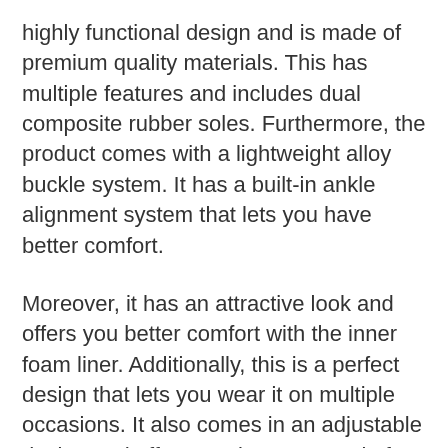highly functional design and is made of premium quality materials. This has multiple features and includes dual composite rubber soles. Furthermore, the product comes with a lightweight alloy buckle system. It has a built-in ankle alignment system that lets you have better comfort.
Moreover, it has an attractive look and offers you better comfort with the inner foam liner. Additionally, this is a perfect design that lets you wear it on multiple occasions. It also comes in an adjustable design and offers you better control of your foot.